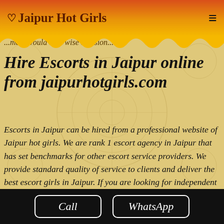♡Jaipur Hot Girls
...ment would be a wise decision...
Hire Escorts in Jaipur online from jaipurhotgirls.com
Escorts in Jaipur can be hired from a professional website of Jaipur hot girls. We are rank 1 escort agency in Jaipur that has set benchmarks for other escort service providers. We provide standard quality of service to clients and deliver the best escort girls in Jaipur. If you are looking for independent girls for incall or outcall facility then professional Jaipur escort girls could be an ideal choice. Not only these girls are
Call | WhatsApp